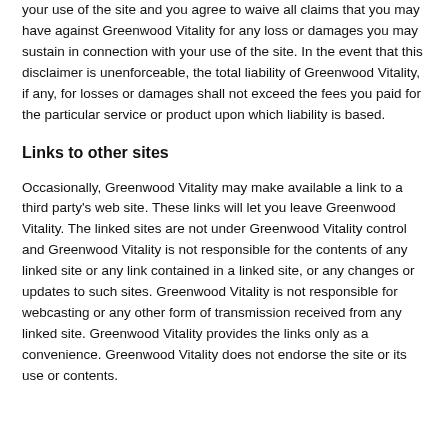your use of the site and you agree to waive all claims that you may have against Greenwood Vitality for any loss or damages you may sustain in connection with your use of the site. In the event that this disclaimer is unenforceable, the total liability of Greenwood Vitality, if any, for losses or damages shall not exceed the fees you paid for the particular service or product upon which liability is based.
Links to other sites
Occasionally, Greenwood Vitality may make available a link to a third party's web site. These links will let you leave Greenwood Vitality. The linked sites are not under Greenwood Vitality control and Greenwood Vitality is not responsible for the contents of any linked site or any link contained in a linked site, or any changes or updates to such sites. Greenwood Vitality is not responsible for webcasting or any other form of transmission received from any linked site. Greenwood Vitality provides the links only as a convenience. Greenwood Vitality does not endorse the site or its use or contents.